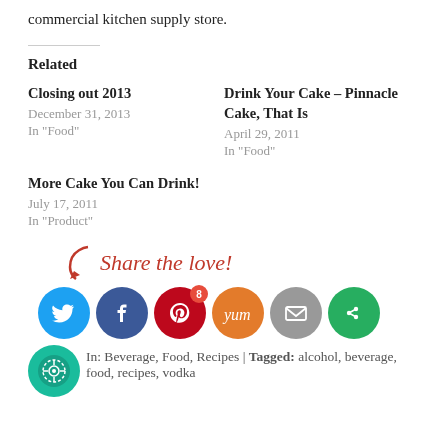commercial kitchen supply store.
Related
Closing out 2013
December 31, 2013
In "Food"
Drink Your Cake – Pinnacle Cake, That Is
April 29, 2011
In "Food"
More Cake You Can Drink!
July 17, 2011
In "Product"
[Figure (infographic): Share the love! social sharing icons row: Twitter (blue), Facebook (dark blue), Pinterest (red, badge 8), Yummly (orange), Email (grey), More (green)]
In: Beverage, Food, Recipes | Tagged: alcohol, beverage, food, recipes, vodka